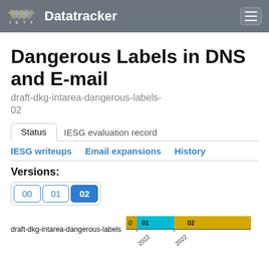IETF Datatracker
Dangerous Labels in DNS and E-mail
draft-dkg-intarea-dangerous-labels-02
Status	IESG evaluation record
IESG writeups	Email expansions	History
Versions:
00  01  02
[Figure (bar-chart): draft-dkg-intarea-dangerous-labels version timeline]